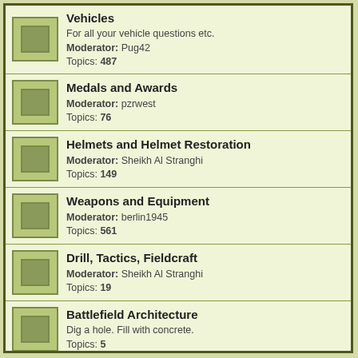Vehicles
For all your vehicle questions etc.
Moderator: Pug42
Topics: 487
Medals and Awards
Moderator: pzrwest
Topics: 76
Helmets and Helmet Restoration
Moderator: Sheikh Al Stranghi
Topics: 149
Weapons and Equipment
Moderator: berlin1945
Topics: 561
Drill, Tactics, Fieldcraft
Moderator: Sheikh Al Stranghi
Topics: 19
Battlefield Architecture
Dig a hole. Fill with concrete.
Topics: 5
Marschmusik
Sing. Louder.
Moderator: Oberleutnant Ulrich
Topics: 16